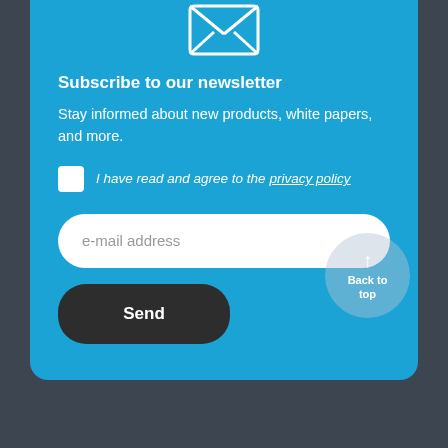[Figure (illustration): White envelope icon with X pattern on front, on blue background]
Subscribe to our newsletter
Stay informed about new products, white papers, and more.
I have read and agree to the privacy policy
e-mail address
Send